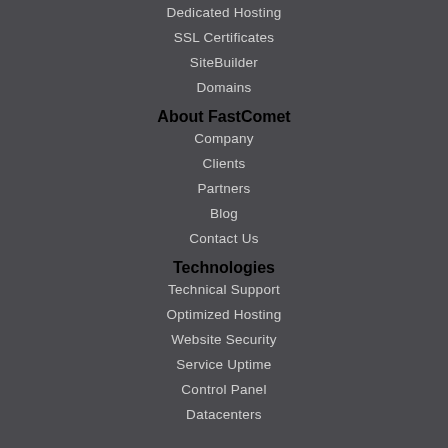Dedicated Hosting
SSL Certificates
SiteBuilder
Domains
About FastComet
Company
Clients
Partners
Blog
Contact Us
Technologies
Technical Support
Optimized Hosting
Website Security
Service Uptime
Control Panel
Datacenters